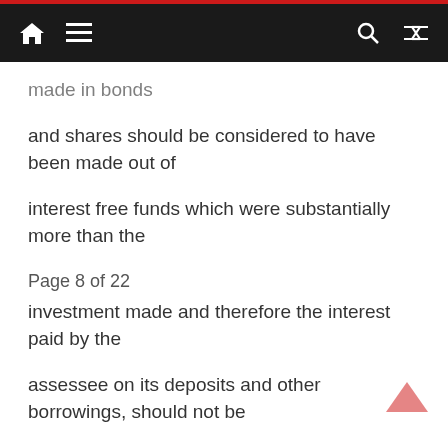Navigation bar with home, menu, search, and shuffle icons
made in bonds
and shares should be considered to have been made out of
interest free funds which were substantially more than the
Page 8 of 22
investment made and therefore the interest paid by the
assessee on its deposits and other borrowings, should not be
considered to be expenditure incurred in relation to tax